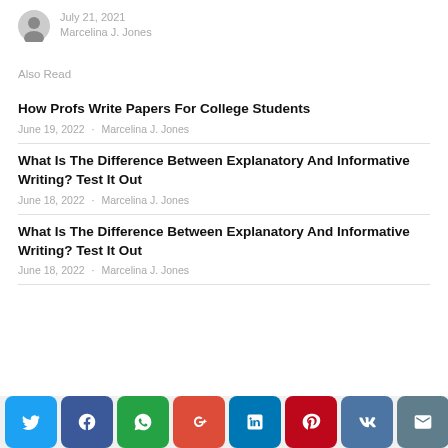July 21, 2021
Marcelina J. Jones
Also Read
How Profs Write Papers For College Students
June 19, 2022 · Marcelina J. Jones
What Is The Difference Between Explanatory And Informative Writing? Test It Out
June 18, 2022 · Marcelina J. Jones
What Is The Difference Between Explanatory And Informative Writing? Test It Out
June 18, 2022 · Marcelina J. Jones
[Figure (infographic): Social share bar with Twitter, Facebook, WhatsApp, Google+, LinkedIn, Pinterest, VK, Email, and scroll-up buttons]